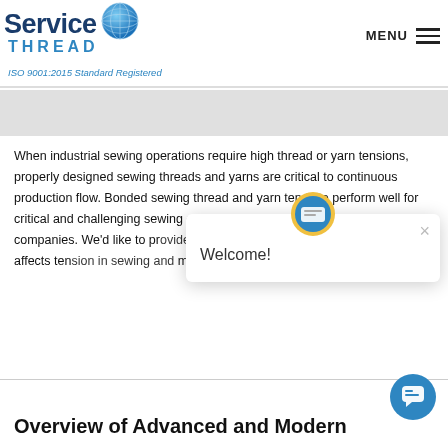Service THREAD — ISO 9001:2015 Standard Registered
When industrial sewing operations require high thread or yarn tensions, properly designed sewing threads and yarns are critical to continuous production flow. Bonded sewing thread and yarn tends to perform well for critical and challenging sewing conditions often faced by manufacturing companies. We'd like to provide more information on how bonded thread affects tension in sewing and manufacturing. READ MORE »
[Figure (screenshot): Welcome chat popup with icon and close button]
Overview of Advanced and Modern